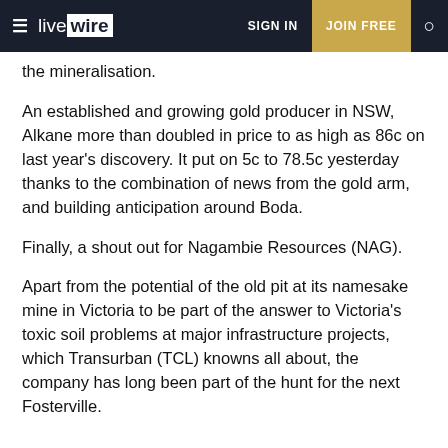live wire | SIGN IN | JOIN FREE
the mineralisation.
An established and growing gold producer in NSW, Alkane more than doubled in price to as high as 86c on last year's discovery. It put on 5c to 78.5c yesterday thanks to the combination of news from the gold arm, and building anticipation around Boda.
Finally, a shout out for Nagambie Resources (NAG).
Apart from the potential of the old pit at its namesake mine in Victoria to be part of the answer to Victoria's toxic soil problems at major infrastructure projects, which Transurban (TCL) knowns all about, the company has long been part of the hunt for the next Fosterville.